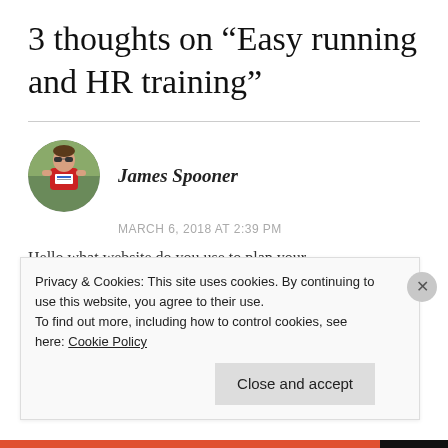3 thoughts on “Easy running and HR training”
[Figure (photo): Circular avatar photo of a male runner wearing sunglasses and a red athletic singlet, running in a race.]
James Spooner
MARCH 6, 2018 AT 2:39 PM
Hello what website do you use to plan your
Privacy & Cookies: This site uses cookies. By continuing to use this website, you agree to their use.
To find out more, including how to control cookies, see here: Cookie Policy
Close and accept